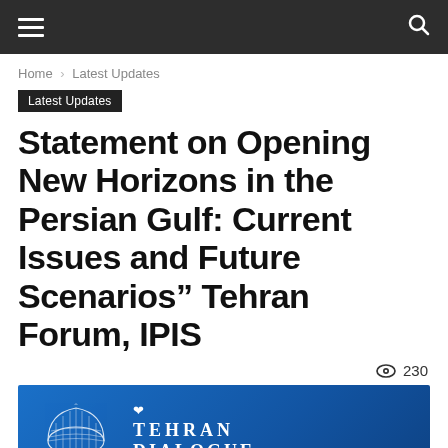Navigation bar with hamburger menu and search icon
Home › Latest Updates
Latest Updates
Statement on Opening New Horizons in the Persian Gulf: Current Issues and Future Scenarios" Tehran Forum, IPIS
👁 230
[Figure (photo): Conference panel photo showing people seated at a table in front of a blue backdrop with the Tehran Dialogue Forum 2020 logo and Farsi text مجمع گفتگوی تهران]